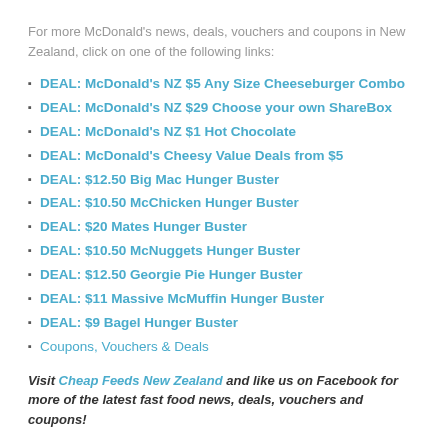For more McDonald's news, deals, vouchers and coupons in New Zealand, click on one of the following links:
DEAL: McDonald's NZ $5 Any Size Cheeseburger Combo
DEAL: McDonald's NZ $29 Choose your own ShareBox
DEAL: McDonald's NZ $1 Hot Chocolate
DEAL: McDonald's Cheesy Value Deals from $5
DEAL: $12.50 Big Mac Hunger Buster
DEAL: $10.50 McChicken Hunger Buster
DEAL: $20 Mates Hunger Buster
DEAL: $10.50 McNuggets Hunger Buster
DEAL: $12.50 Georgie Pie Hunger Buster
DEAL: $11 Massive McMuffin Hunger Buster
DEAL: $9 Bagel Hunger Buster
Coupons, Vouchers & Deals
Visit Cheap Feeds New Zealand and like us on Facebook for more of the latest fast food news, deals, vouchers and coupons!